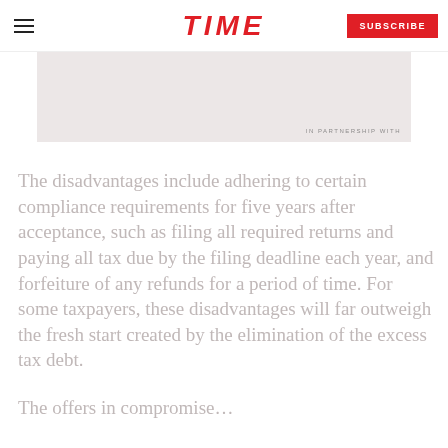TIME — SUBSCRIBE
[Figure (photo): Faded greyscale image with 'IN PARTNERSHIP WITH' text overlay in lower right]
The disadvantages include adhering to certain compliance requirements for five years after acceptance, such as filing all required returns and paying all tax due by the filing deadline each year, and forfeiture of any refunds for a period of time. For some taxpayers, these disadvantages will far outweigh the fresh start created by the elimination of the excess tax debt.
The offers in compromise…